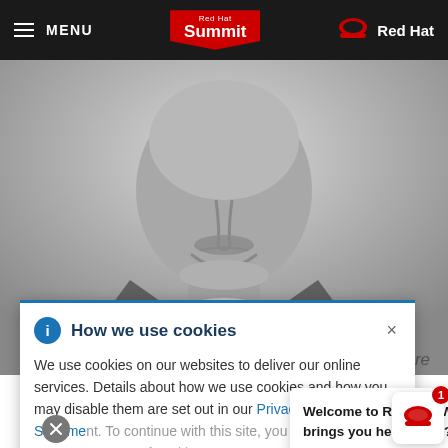MENU | Red Hat Summit | Red Hat
[Figure (photo): Black and white close-up photo of a smiling man in a suit and tie, cropped to show face and upper torso]
enture
[Figure (screenshot): Cookie consent banner with title 'How we use cookies', info icon, close button (×), and body text: 'We use cookies on our websites to deliver our online services. Details about how we use cookies and how you may disable them are set out in our Privacy Statement. To continue with this site, you agree to...']
[Figure (screenshot): Chat bubble overlay with text: 'Welcome to Red Hat. What brings you here today?' and a Red Hat logo chat icon with badge showing 1]